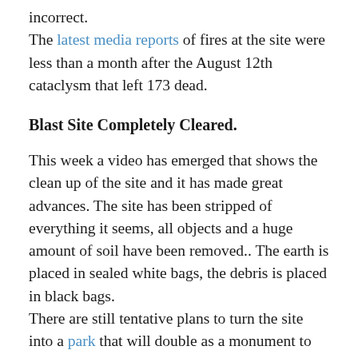incorrect.
The latest media reports of fires at the site were less than a month after the August 12th cataclysm that left 173 dead.
Blast Site Completely Cleared.
This week a video has emerged that shows the clean up of the site and it has made great advances. The site has been stripped of everything it seems, all objects and a huge amount of soil have been removed.. The earth is placed in sealed white bags, the debris is placed in black bags.
There are still tentative plans to turn the site into a park that will double as a monument to the dead.